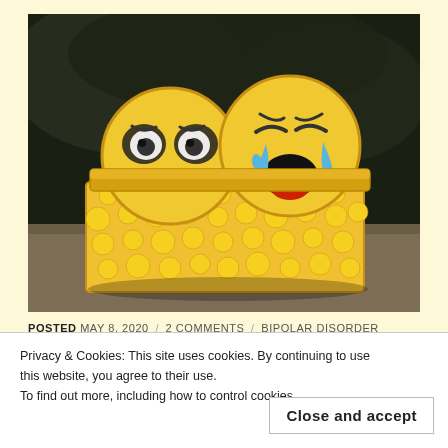[Figure (photo): Two yellow emoji plush toys (one sad/worried, one crying) sitting in a decorative tin box covered with emoji faces, photographed outdoors with dark blurred background.]
POSTED MAY 8, 2020 / 2 COMMENTS / BIPOLAR DISORDER
Privacy & Cookies: This site uses cookies. By continuing to use this website, you agree to their use.
To find out more, including how to control cookies,
Close and accept